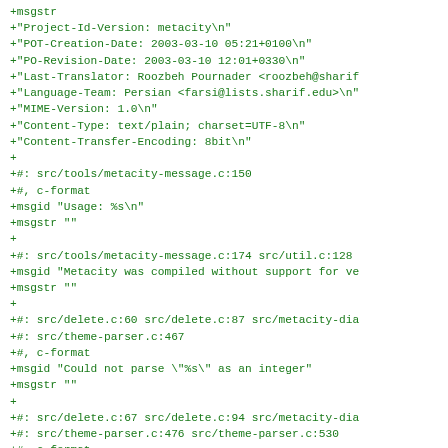+msgstr
+"Project-Id-Version: metacity\n"
+"POT-Creation-Date: 2003-03-10 05:21+0100\n"
+"PO-Revision-Date: 2003-03-10 12:01+0330\n"
+"Last-Translator: Roozbeh Pournader <roozbeh@sharif
+"Language-Team: Persian <farsi@lists.sharif.edu>\n"
+"MIME-Version: 1.0\n"
+"Content-Type: text/plain; charset=UTF-8\n"
+"Content-Transfer-Encoding: 8bit\n"
+
+#: src/tools/metacity-message.c:150
+#, c-format
+msgid "Usage: %s\n"
+msgstr ""
+
+#: src/tools/metacity-message.c:174 src/util.c:128
+msgid "Metacity was compiled without support for ve
+msgstr ""
+
+#: src/delete.c:60 src/delete.c:87 src/metacity-dia
+#: src/theme-parser.c:467
+#, c-format
+msgid "Could not parse \"%s\" as an integer"
+msgstr ""
+
+#: src/delete.c:67 src/delete.c:94 src/metacity-dia
+#: src/theme-parser.c:476 src/theme-parser.c:530
+#, c-format
+msgid "Did not understand trailing characters \"%s\
+msgstr ""
+